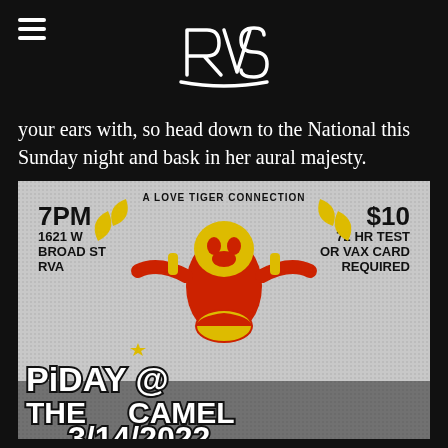RVS logo and navigation
your ears with, so head down to the National this Sunday night and bask in her aural majesty.
[Figure (illustration): Event flyer for 'Pi Day @ The Camel' on 3/14/2022. Features a cartoon character holding a pie with multiple arms giving the middle finger. Text reads: A LOVE TIGER CONNECTION, 7PM, 1621 W BROAD ST RVA, $10, 72 HR TEST OR VAX CARD REQUIRED, PIDAY @ THE CAMEL, 3/14/2022]